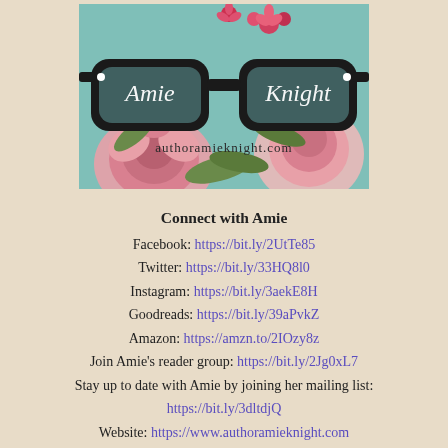[Figure (logo): Amie Knight author logo: black thick-rimmed glasses over a floral teal background with pink roses and red flowers. Text 'Amie Knight' written in white script inside the glasses lenses. Website 'authoramieknight.com' below the glasses in dark text.]
Connect with Amie
Facebook: https://bit.ly/2UtTe85
Twitter: https://bit.ly/33HQ8l0
Instagram: https://bit.ly/3aekE8H
Goodreads: https://bit.ly/39aPvkZ
Amazon: https://amzn.to/2IOzy8z
Join Amie's reader group: https://bit.ly/2Jg0xL7
Stay up to date with Amie by joining her mailing list: https://bit.ly/3dltdjQ
Website: https://www.authoramieknight.com